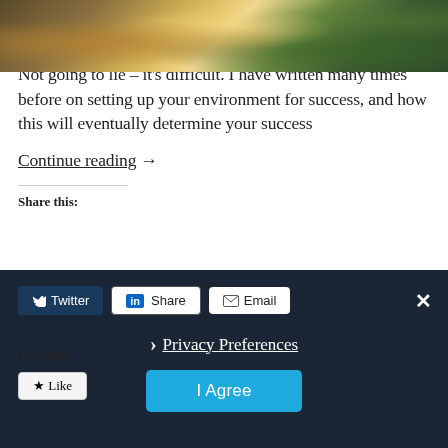[Figure (photo): Top portion of a food photo showing various foods including pasta, cheese, honey, and vegetables on a dark background]
I've never been so close to the kitchen all day. 30 to 40 steps and I am there. Any food that I want, whenever I want it. Not going to lie – it's difficult. I have written many times before on setting up your environment for success, and how this will eventually determine your success
Continue reading →
Share this:
[Figure (screenshot): Dark cookie consent overlay bar with Twitter, LinkedIn, Email share buttons, a close X button, Privacy Preferences link with chevron, and an I Agree button]
Like this:
Like